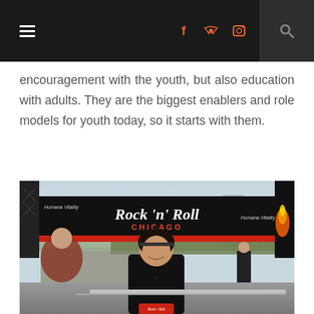Navigation header with hamburger menu, social icons (Facebook, Twitter, Instagram), and search icon
encouragement with the youth, but also education with adults. They are the biggest enablers and role models for youth today, so it starts with them.
[Figure (photo): A young woman in a black Under Armour athletic shirt smiling at the Rock 'n' Roll Chicago race event, standing in front of a large black banner that reads 'Rock 'n' Roll CHICAGO' with Humana Vitality sponsorship logos, surrounded by crowd and race infrastructure.]